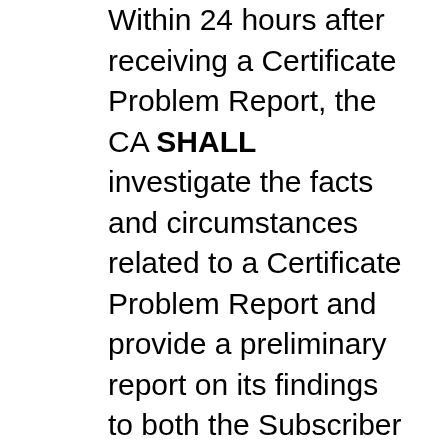Within 24 hours after receiving a Certificate Problem Report, the CA SHALL investigate the facts and circumstances related to a Certificate Problem Report and provide a preliminary report on its findings to both the Subscriber and the entity who filed the Certificate Problem Report.
After reviewing the facts and circumstances, the CA SHALL work with the Subscriber and any entity reporting the Certificate Problem Report or other revocation-related notice to establish whether or not the certificate will be revoked, and if so, a date which the CA will revoke the certificate. The period from receipt of the Certificate Problem Report or revocation-related notice to published revocation MUST NOT exceed the time frame set forth in Section 4.9.1.1. The date selected by the CA SHOULD consider the following criteria: